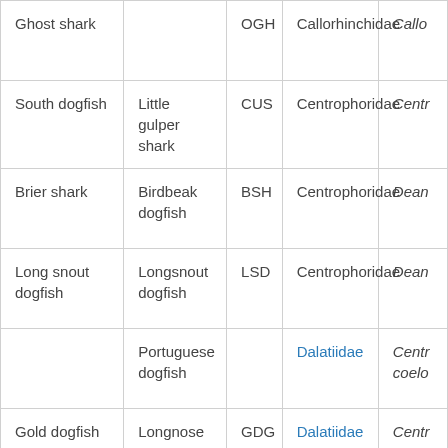| Ghost shark |  | OGH | Callorhinchidae | Callo… |
| South dogfish | Little gulper shark | CUS | Centrophoridae | Centr… |
| Brier shark | Birdbeak dogfish | BSH | Centrophoridae | Dean… |
| Long snout dogfish | Longsnout dogfish | LSD | Centrophoridae | Dean… |
|  | Portuguese dogfish |  | Dalatiidae | Centr… coelo… |
| Gold dogfish | Longnose… | GDG | Dalatiidae | Centr… |